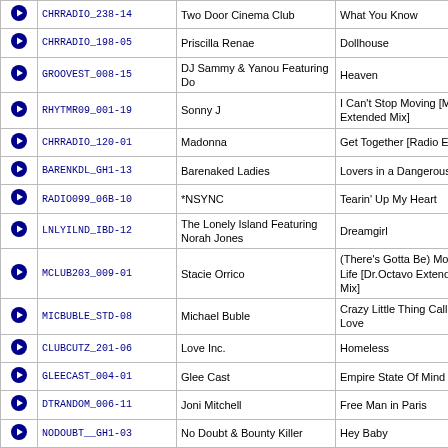|  | ID | Artist | Song |
| --- | --- | --- | --- |
| ▶ | CHRRADIO_238-14 | Two Door Cinema Club | What You Know |
| ▶ | CHRRADIO_198-05 | Priscilla Renae | Dollhouse |
| ▶ | GROOVEST_008-15 | DJ Sammy & Yanou Featuring Do | Heaven |
| ▶ | RHYTMR09_001-19 | Sonny J | I Can't Stop Moving [Mirwais Extended Mix] |
| ▶ | CHRRADIO_120-01 | Madonna | Get Together [Radio Edit] |
| ▶ | BARENKDL_GH1-13 | Barenaked Ladies | Lovers in a Dangerous Time |
| ▶ | RADIO099_06B-10 | *NSYNC | Tearin' Up My Heart |
| ▶ | LNLYILND_IBD-12 | The Lonely Island Featuring Norah Jones | Dreamgirl |
| ▶ | MCLUB203_009-01 | Stacie Orrico | (There's Gotta Be) More to Life [Dr.Octavo Extended Mix] |
| ▶ | MICBUBLE_STD-08 | Michael Buble | Crazy Little Thing Called Love |
| ▶ | CLUBCUTZ_201-06 | Love Inc. | Homeless |
| ▶ | GLEECAST_004-01 | Glee Cast | Empire State Of Mind |
| ▶ | DTRANDOM_006-11 | Joni Mitchell | Free Man in Paris |
| ▶ | NODOUBT__GH1-03 | No Doubt & Bounty Killer | Hey Baby |
| ▶ | CHRRADIO_143-02 | Mika | Love Today |
| ▶ | CHRRADIO_258-17 | Jake Owen | Alone With You |
| ▶ | DTRANDOM_053-09 | Matt Nathanson | Come On Get Higher |
| ▶ | CHRRADIO_241-17 | Jason Aldean | Dirt Road Anthem |
| ▶ | CHRRADIO_252-09 | Beyonce | Countdown [Clean] |